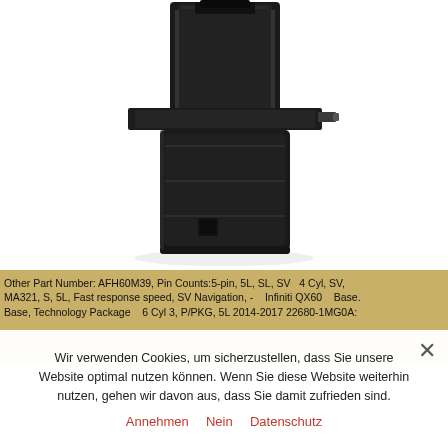[Figure (photo): Black automotive mass air flow sensor component with rectangular housing and connector plug, photographed on white background]
Other Part Number: AFH60M39, Pin Counts:5-pin, 5L, SL, SV  4 Cyl, SV, MA321, S, 5L, Fast response speed, SV Navigation, -  Infiniti QX60  Base. Base, Technology Package  6 Cyl 3, P/PKG, 5L 2014-2017 22680-1MG0A:
Wir verwenden Cookies, um sicherzustellen, dass Sie unsere Website optimal nutzen können. Wenn Sie diese Website weiterhin nutzen, gehen wir davon aus, dass Sie damit zufrieden sind.
Annehmen   Nein   Datenschutz